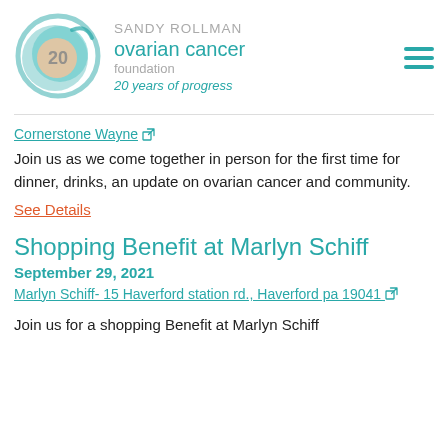[Figure (logo): Sandy Rollman Ovarian Cancer Foundation logo with teal circular design and '20' in center, with text 'SANDY ROLLMAN ovarian cancer foundation 20 years of progress']
Cornerstone Wayne [external link icon]
Join us as we come together in person for the first time for dinner, drinks, an update on ovarian cancer and community.
See Details
Shopping Benefit at Marlyn Schiff
September 29, 2021
Marlyn Schiff- 15 Haverford station rd., Haverford pa 19041 [external link icon]
Join us for a shopping Benefit at Marlyn Schiff